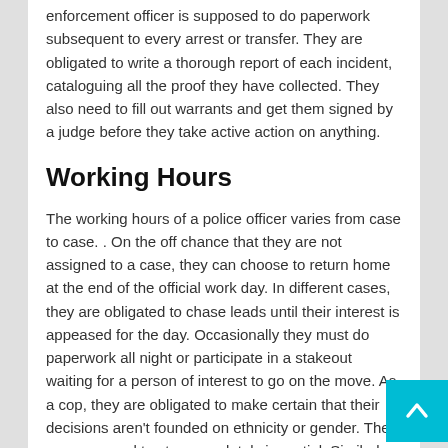enforcement officer is supposed to do paperwork subsequent to every arrest or transfer. They are obligated to write a thorough report of each incident, cataloguing all the proof they have collected. They also need to fill out warrants and get them signed by a judge before they take active action on anything.
Working Hours
The working hours of a police officer varies from case to case. . On the off chance that they are not assigned to a case, they can choose to return home at the end of the official work day. In different cases, they are obligated to chase leads until their interest is appeased for the day. Occasionally they must do paperwork all night or participate in a stakeout waiting for a person of interest to go on the move. As a cop, they are obligated to make certain that their decisions aren't founded on ethnicity or gender. They are supposed to stay completely impartial. Similarly, they are expected to honor the religious views of a person of interest even while they are being taken into custody.